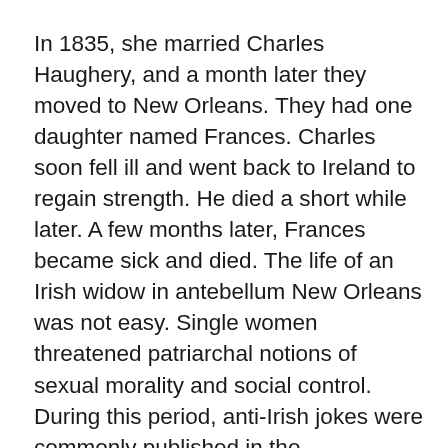In 1835, she married Charles Haughery, and a month later they moved to New Orleans. They had one daughter named Frances. Charles soon fell ill and went back to Ireland to regain strength. He died a short while later. A few months later, Frances became sick and died. The life of an Irish widow in antebellum New Orleans was not easy. Single women threatened patriarchal notions of sexual morality and social control. During this period, anti-Irish jokes were commonly published in the newspapers.
To support herself, Haughery worked as a laundress for the St. Charles Hotel. She acquainted herself with the Sisters of Charity and volunteered her time to the orphans in their care. She also contributed as much as two-thirds of her earnings to the orphans. In order to better care for the orphans, Haughery purchased two cows to provide milk. These two cows developed into a dairy herd of forty